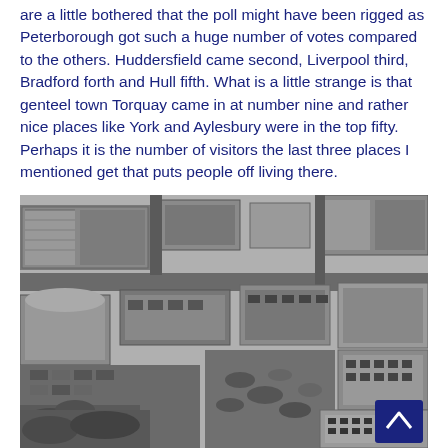are a little bothered that the poll might have been rigged as Peterborough got such a huge number of votes compared to the others. Huddersfield came second, Liverpool third, Bradford forth and Hull fifth. What is a little strange is that genteel town Torquay came in at number nine and rather nice places like York and Aylesbury were in the top fifty. Perhaps it is the number of visitors the last three places I mentioned get that puts people off living there.
[Figure (photo): Aerial black and white photograph of an industrial or commercial area showing warehouses, buildings, roads, and parked vehicles. A dark blue back-to-top arrow button is visible in the lower right corner.]